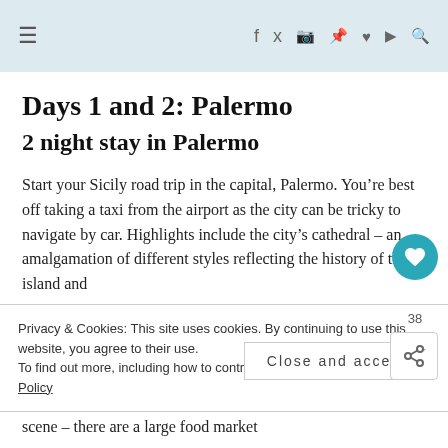≡  f  y  [camera]  [pinterest]  [heart]  [youtube]  [search]
Days 1 and 2: Palermo
2 night stay in Palermo
Start your Sicily road trip in the capital, Palermo. You're best off taking a taxi from the airport as the city can be tricky to navigate by car. Highlights include the city's cathedral – an amalgamation of different styles reflecting the history of the island and
Privacy & Cookies: This site uses cookies. By continuing to use this website, you agree to their use.
To find out more, including how to control cookies, see here: Cookie Policy
Close and accept
scene – there are a large food market